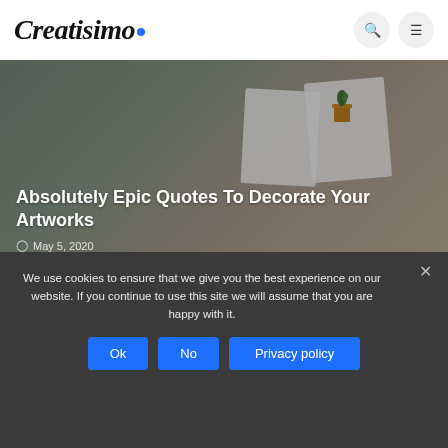Creatisimo
[Figure (photo): Hero banner image with greeting cards on a desk, showing handwritten typography and an illustrated plant pot. Overlaid with a dark tint.]
Absolutely Epic Quotes To Decorate Your Artworks
May 5, 2020
ADVERTISEMENT
We use cookies to ensure that we give you the best experience on our website. If you continue to use this site we will assume that you are happy with it.